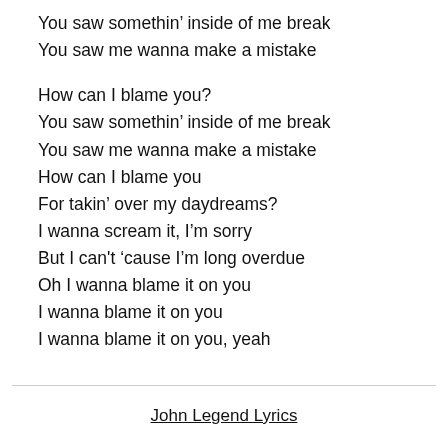You saw somethin’ inside of me break
You saw me wanna make a mistake
How can I blame you?
You saw somethin’ inside of me break
You saw me wanna make a mistake
How can I blame you
For takin’ over my daydreams?
I wanna scream it, I’m sorry
But I can't ‘cause I’m long overdue
Oh I wanna blame it on you
I wanna blame it on you
I wanna blame it on you, yeah
John Legend Lyrics